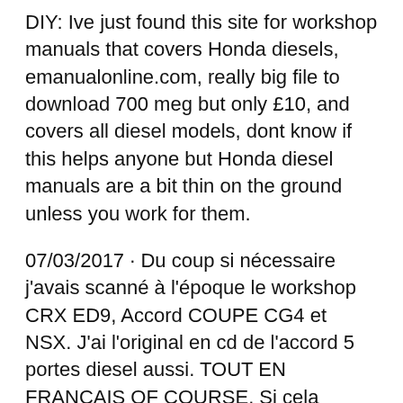DIY: Ive just found this site for workshop manuals that covers Honda diesels, emanualonline.com, really big file to download 700 meg but only £10, and covers all diesel models, dont know if this helps anyone but Honda diesel manuals are a bit thin on the ground unless you work for them.
07/03/2017 · Du coup si nécessaire j'avais scanné à l'époque le workshop CRX ED9, Accord COUPE CG4 et NSX. J'ai l'original en cd de l'accord 5 portes diesel aussi. TOUT EN FRANCAIS OF COURSE. Si cela intéresse quelqu'un pour le mettre sur son FTP ou autre NO SOUCY. Tchoooooo Nagumo74 / japan74 Honda Accord 2007 Owners Manual Sedan PDF. This webpage contains Honda Accord 2007 Owners Manual Sedan PDF used by Honda garages, auto repair